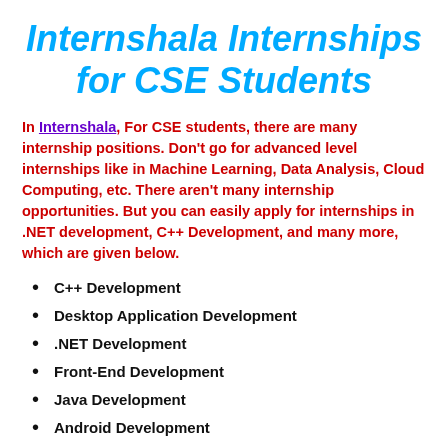Internshala Internships for CSE Students
In Internshala, For CSE students, there are many internship positions. Don't go for advanced level internships like in Machine Learning, Data Analysis, Cloud Computing, etc. There aren't many internship opportunities. But you can easily apply for internships in .NET development, C++ Development, and many more, which are given below.
C++ Development
Desktop Application Development
.NET Development
Front-End Development
Java Development
Android Development